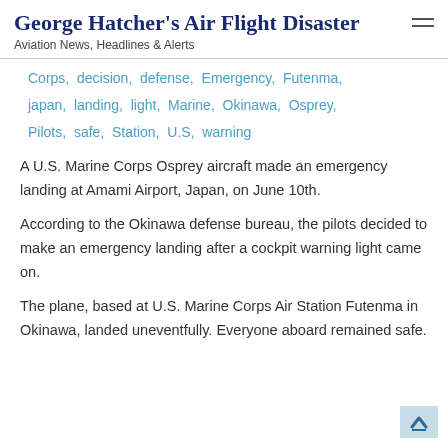George Hatcher's Air Flight Disaster
Aviation News, Headlines & Alerts
Corps, decision, defense, Emergency, Futenma, japan, landing, light, Marine, Okinawa, Osprey, Pilots, safe, Station, U.S, warning
A U.S. Marine Corps Osprey aircraft made an emergency landing at Amami Airport, Japan, on June 10th.
According to the Okinawa defense bureau, the pilots decided to make an emergency landing after a cockpit warning light came on.
The plane, based at U.S. Marine Corps Air Station Futenma in Okinawa, landed uneventfully. Everyone aboard remained safe.